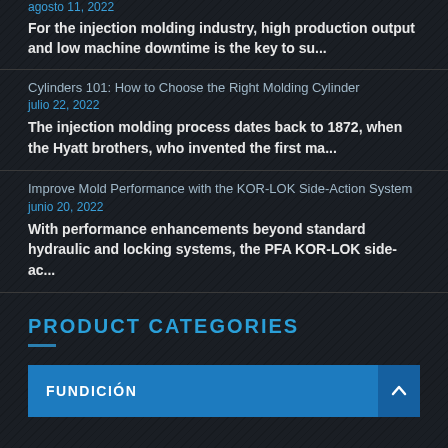agosto 11, 2022
For the injection molding industry, high production output and low machine downtime is the key to su...
Cylinders 101: How to Choose the Right Molding Cylinder
julio 22, 2022
The injection molding process dates back to 1872, when the Hyatt brothers, who invented the first ma...
Improve Mold Performance with the KOR-LOK Side-Action System
junio 20, 2022
With performance enhancements beyond standard hydraulic and locking systems, the PFA KOR-LOK side-ac...
PRODUCT CATEGORIES
FUNDICIÓN